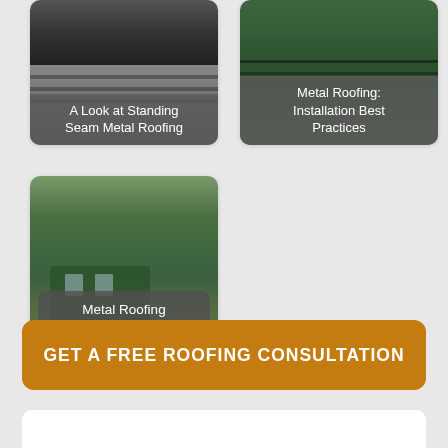[Figure (photo): Card with photo of standing seam metal roofing material being installed, with label overlay]
A Look at Standing Seam Metal Roofing
[Figure (photo): Card with photo of metal roofing installation on a roof with a worker, with label overlay]
Metal Roofing: Installation Best Practices
[Figure (photo): Card with photo of a green house with metal roofing panels, with label overlay]
Metal Roofing Popularity Soars in 2020
GET A FREE ROOFING CONSULTATION